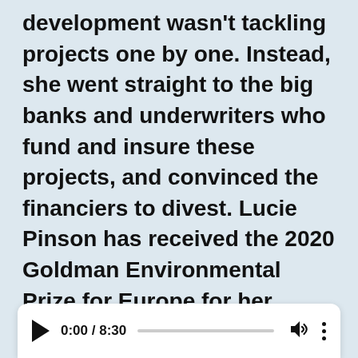development wasn't tackling projects one by one. Instead, she went straight to the big banks and underwriters who fund and insure these projects, and convinced the financiers to divest. Lucie Pinson has received the 2020 Goldman Environmental Prize for Europe for her efforts and she joins Host Steve Curwood to discuss how media campaigns that take on big finance are getting more international recognition.
[Figure (other): Audio player widget showing play button, time 0:00 / 8:30, progress bar, volume icon, and options dots menu.]